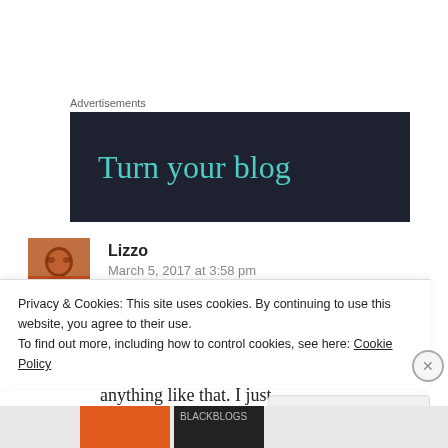Advertisements
[Figure (illustration): Dark navy advertisement banner with teal text reading 'Turn your blog']
[Figure (photo): User avatar photo of Lizzo — person in orange clothing]
Lizzo
March 5, 2017 at 3:58 pm
I haven't had a perm in like 15 years and it wasn't because for revolutionary purposes or anything like that. I just
Privacy & Cookies: This site uses cookies. By continuing to use this website, you agree to their use.
To find out more, including how to control cookies, see here: Cookie Policy
Close and accept